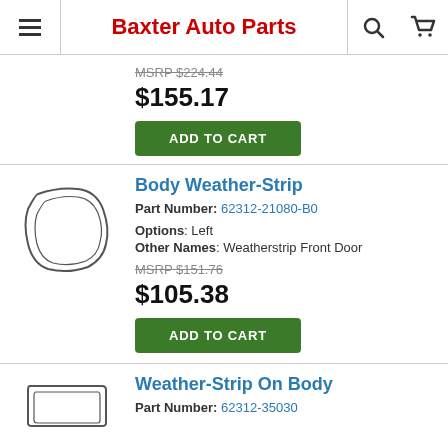Baxter Auto Parts
MSRP $224.44
$155.17
ADD TO CART
Body Weather-Strip
Part Number: 62312-21080-B0
Options: Left
Other Names: Weatherstrip Front Door
MSRP $151.76
$105.38
ADD TO CART
Weather-Strip On Body
Part Number: 62312-35030